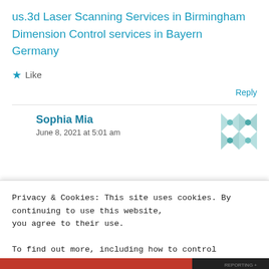us.3d Laser Scanning Services in BirminghamDimension Control services in Bayern Germany
★ Like
Reply
Sophia Mia
June 8, 2021 at 5:01 am
Privacy & Cookies: This site uses cookies. By continuing to use this website, you agree to their use.
To find out more, including how to control cookies, see here: Cookie Policy
Close and accept